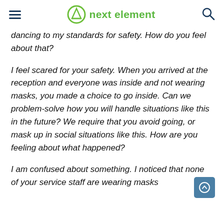next element
dancing to my standards for safety. How do you feel about that?
I feel scared for your safety. When you arrived at the reception and everyone was inside and not wearing masks, you made a choice to go inside. Can we problem-solve how you will handle situations like this in the future? We require that you avoid going, or mask up in social situations like this. How are you feeling about what happened?
I am confused about something. I noticed that none of your service staff are wearing masks